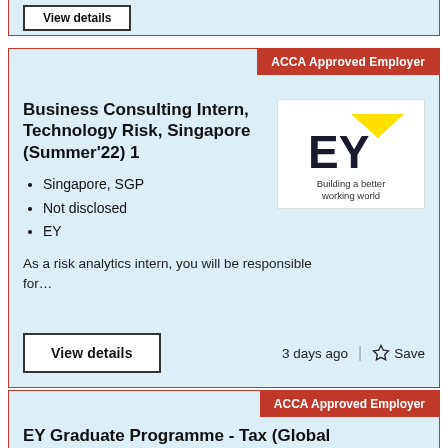[Figure (screenshot): Top partial job listing card showing a 'View details' button]
ACCA Approved Employer
Business Consulting Intern, Technology Risk, Singapore (Summer'22) 1
Singapore, SGP
Not disclosed
EY
[Figure (logo): EY logo with yellow swoosh above EY text and tagline 'Building a better working world']
As a risk analytics intern, you will be responsible for…
View details
3 days ago
Save
ACCA Approved Employer
EY Graduate Programme - Tax (Global Compliance & Reporting)